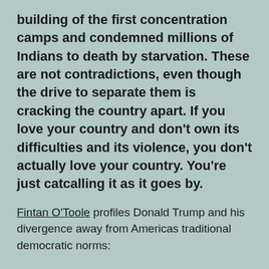building of the first concentration camps and condemned millions of Indians to death by starvation. These are not contradictions, even though the drive to separate them is cracking the country apart. If you love your country and don't own its difficulties and its violence, you don't actually love your country. You're just catcalling it as it goes by.
Fintan O'Toole profiles Donald Trump and his divergence away from Americas traditional democratic norms: